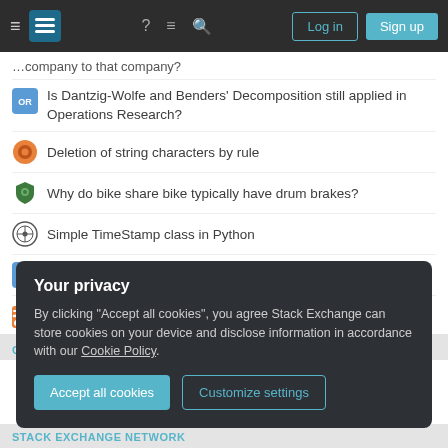Stack Exchange navigation header with Log in and Sign up buttons
…company to that company?
Is Dantzig-Wolfe and Benders' Decomposition still applied in Operations Research?
Deletion of string characters by rule
Why do bike share bike typically have drum brakes?
Simple TimeStamp class in Python
Does "statistically significant" have a specific legal meaning?
Question feed
GRAPHIC DESIGN
Your privacy
By clicking "Accept all cookies", you agree Stack Exchange can store cookies on your device and disclose information in accordance with our Cookie Policy.
Accept all cookies   Customize settings
STACK EXCHANGE NETWORK